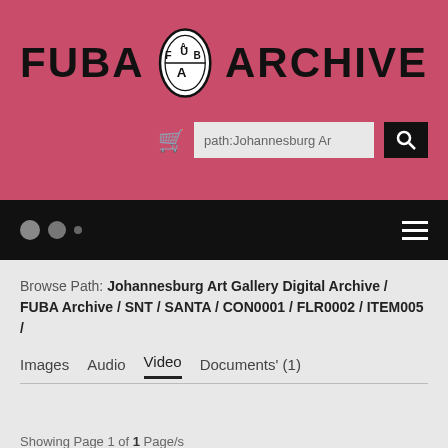[Figure (logo): FUBA Archive logo with oval badge containing letters FUA and text FUBA ARCHIVE in large black bold font on pink/rose background]
path:Johannesburg Ar
Browse Path: Johannesburg Art Gallery Digital Archive / FUBA Archive / SNT / SANTA / CON0001 / FLR0002 / ITEM005 /
Images   Audio   Video   Documents' (1)
Showing Page 1 of 1 Page/s
Order By:   Most Recent   Show Per Page   50